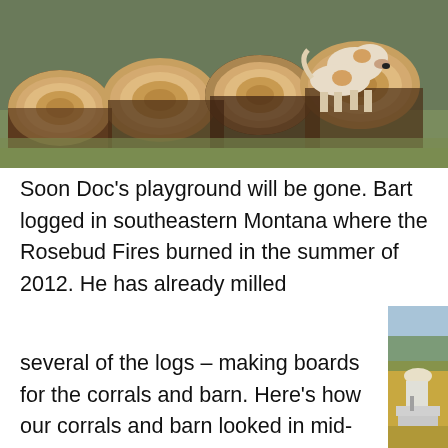[Figure (photo): A dog sniffing around a pile of large cut logs outdoors on grass]
Soon Doc's playground will be gone. Bart logged in southeastern Montana where the Rosebud Fires burned in the summer of 2012. He has already milled several of the logs – making boards for the corrals and barn. Here's how our corrals and barn looked in mid-September after a couple more weeks of work. More photos
[Figure (photo): A man in a straw hat operating a portable sawmill in an open grassy field with pine trees in the background]